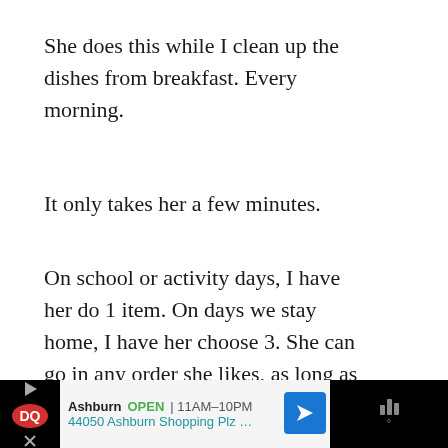She does this while I clean up the dishes from breakfast. Every morning.
It only takes her a few minutes.
On school or activity days, I have her do 1 item. On days we stay home, I have her choose 3. She can go in any order she likes, as long as she does new letters/numbers/shapes each day.
[Figure (screenshot): Social media UI elements: heart/like button (teal circle with heart icon), like count '1', and share button]
[Figure (screenshot): Advertisement bar for Dairy Queen: Ashburn OPEN 11AM-10PM, 44050 Ashburn Shopping Plz ..., with DQ logo, navigation arrow, and weather widget on black background]